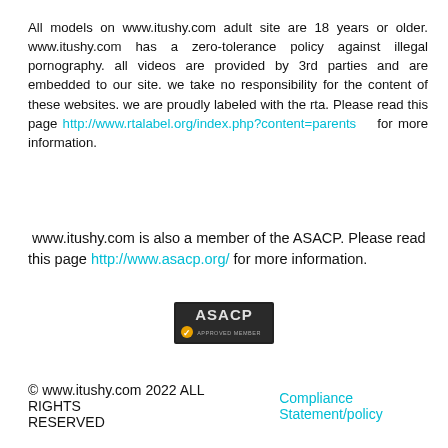All models on www.itushy.com adult site are 18 years or older. www.itushy.com has a zero-tolerance policy against illegal pornography. all videos are provided by 3rd parties and are embedded to our site. we take no responsibility for the content of these websites. we are proudly labeled with the rta. Please read this page http://www.rtalabel.org/index.php?content=parents for more information.
www.itushy.com is also a member of the ASACP. Please read this page http://www.asacp.org/ for more information.
[Figure (logo): ASACP Approved Member badge logo]
© www.itushy.com 2022 ALL RIGHTS RESERVED    Compliance Statement/policy